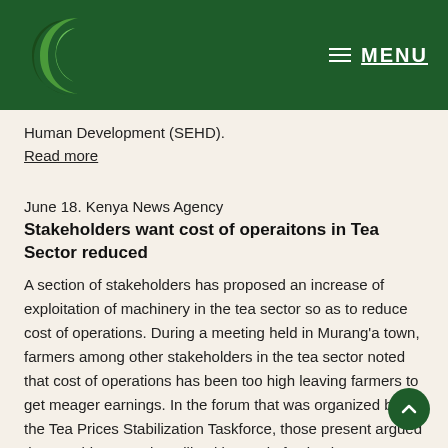MENU
Human Development (SEHD).
Read more
June 18. Kenya News Agency
Stakeholders want cost of operaitons in Tea Sector reduced
A section of stakeholders has proposed an increase of exploitation of machinery in the tea sector so as to reduce cost of operations. During a meeting held in Murang’a town, farmers among other stakeholders in the tea sector noted that cost of operations has been too high leaving farmers to get meager earnings. In the forum that was organized by the Tea Prices Stabilization Taskforce, those present argued that machines can be utilized instead of using human labour, especially in